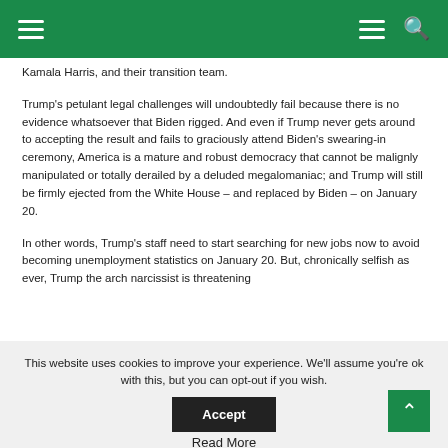Navigation bar with hamburger menu and search icon
Kamala Harris, and their transition team.
Trump's petulant legal challenges will undoubtedly fail because there is no evidence whatsoever that Biden rigged. And even if Trump never gets around to accepting the result and fails to graciously attend Biden's swearing-in ceremony, America is a mature and robust democracy that cannot be malignly manipulated or totally derailed by a deluded megalomaniac; and Trump will still be firmly ejected from the White House – and replaced by Biden – on January 20.
In other words, Trump's staff need to start searching for new jobs now to avoid becoming unemployment statistics on January 20. But, chronically selfish as ever, Trump the arch narcissist is threatening
This website uses cookies to improve your experience. We'll assume you're ok with this, but you can opt-out if you wish.
Accept
Read More